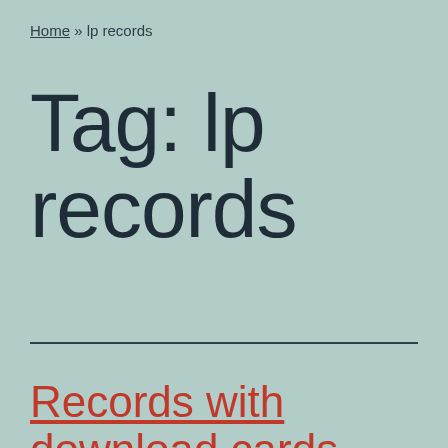Home » lp records
Tag: lp records
Records with download cards